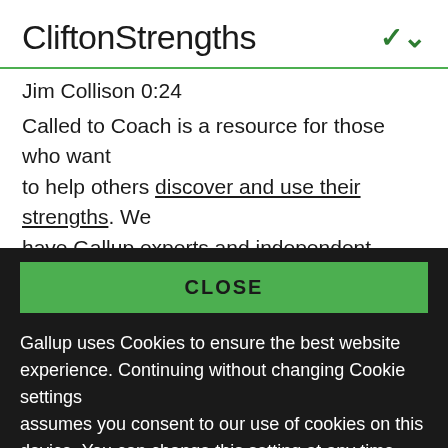CliftonStrengths
Jim Collison 0:24
Called to Coach is a resource for those who want to help others discover and use their strengths. We have Gallup experts and independent strengths coaches share tactics, insights and strategies to
CLOSE
Gallup uses Cookies to ensure the best website experience. Continuing without changing Cookie settings assumes you consent to our use of cookies on this device. You can change this setting at any time, but that may impair functionality on our websites.
Privacy Statement   Site Terms of Use and Sale
Product Terms of Use   Adjust your cookie settings.